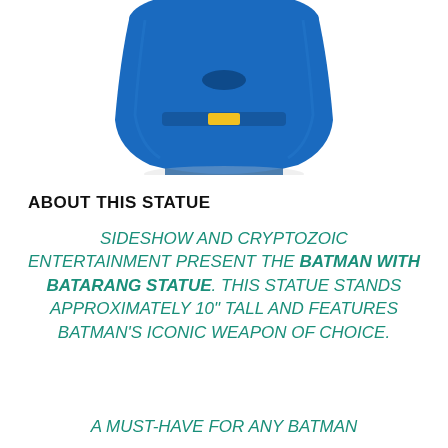[Figure (photo): Partial view of a blue Batman statue, showing the lower torso and base of the figure against a white background.]
ABOUT THIS STATUE
SIDESHOW AND CRYPTOZOIC ENTERTAINMENT PRESENT THE BATMAN WITH BATARANG STATUE. THIS STATUE STANDS APPROXIMATELY 10" TALL AND FEATURES BATMAN'S ICONIC WEAPON OF CHOICE.
A MUST-HAVE FOR ANY BATMAN